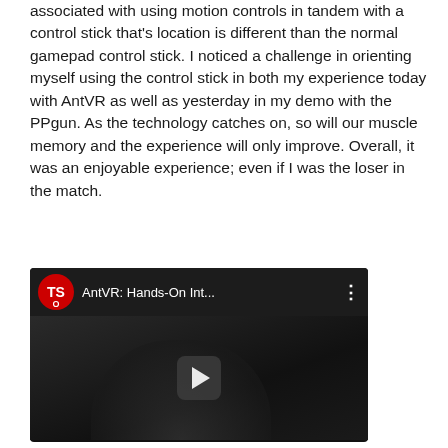associated with using motion controls in tandem with a control stick that's location is different than the normal gamepad control stick. I noticed a challenge in orienting myself using the control stick in both my experience today with AntVR as well as yesterday in my demo with the PPgun. As the technology catches on, so will our muscle memory and the experience will only improve. Overall, it was an enjoyable experience; even if I was the loser in the match.
[Figure (screenshot): YouTube video embed showing 'AntVR: Hands-On Int...' with a TechnoSports logo (red circle with TS), three-dot menu, and a dark video thumbnail with a play button showing people in the background.]